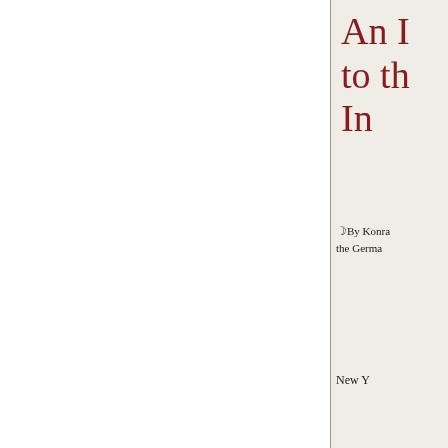An I... to th... In...
By Konra... the Germa...
New Y...